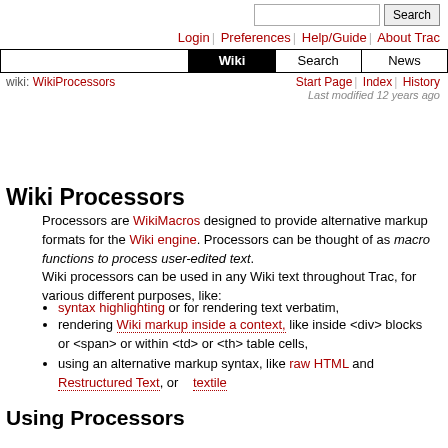Search | Login | Preferences | Help/Guide | About Trac | Wiki | Search | News
wiki: WikiProcessors | Start Page | Index | History | Last modified 12 years ago
Wiki Processors
Processors are WikiMacros designed to provide alternative markup formats for the Wiki engine. Processors can be thought of as macro functions to process user-edited text.
Wiki processors can be used in any Wiki text throughout Trac, for various different purposes, like:
syntax highlighting or for rendering text verbatim,
rendering Wiki markup inside a context, like inside <div> blocks or <span> or within <td> or <th> table cells,
using an alternative markup syntax, like raw HTML and Restructured Text, or textile
Using Processors